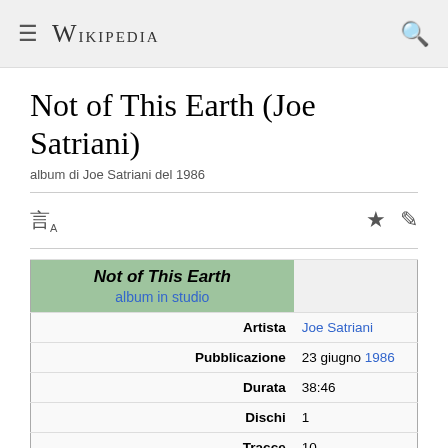≡ WIKIPEDIA 🔍
Not of This Earth (Joe Satriani)
album di Joe Satriani del 1986
| Field | Value |
| --- | --- |
|  | Not of This Earth / album in studio |
| Artista | Joe Satriani |
| Pubblicazione | 23 giugno 1986 |
| Durata | 38:46 |
| Dischi | 1 |
| Tracce | 10 |
| Genere | Hard rock / Heavy metal / Fusion / Rock strumentale |